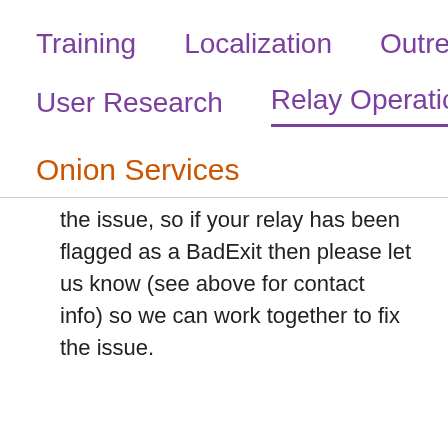Training    Localization    Outreach
User Research    Relay Operations
Onion Services
the issue, so if your relay has been flagged as a BadExit then please let us know (see above for contact info) so we can work together to fix the issue.